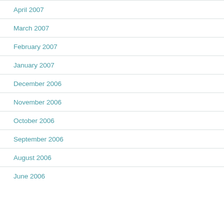April 2007
March 2007
February 2007
January 2007
December 2006
November 2006
October 2006
September 2006
August 2006
June 2006